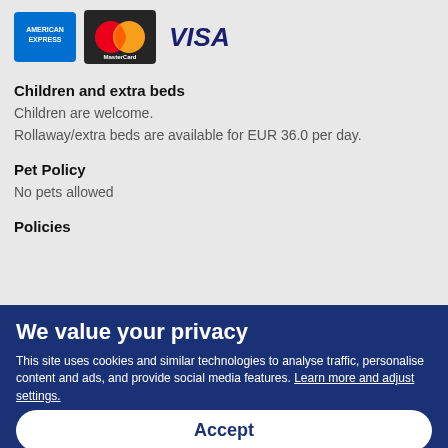[Figure (logo): Payment logos: American Express, MasterCard, Visa]
Children and extra beds
Children are welcome.
Rollaway/extra beds are available for EUR 36.0 per day.
Pet Policy
No pets allowed
Policies
We value your privacy
This site uses cookies and similar technologies to analyse traffic, personalise content and ads, and provide social media features. Learn more and adjust settings.
Accept